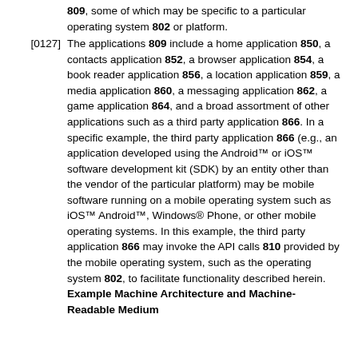809, some of which may be specific to a particular operating system 802 or platform.
[0127] The applications 809 include a home application 850, a contacts application 852, a browser application 854, a book reader application 856, a location application 859, a media application 860, a messaging application 862, a game application 864, and a broad assortment of other applications such as a third party application 866. In a specific example, the third party application 866 (e.g., an application developed using the Android™ or iOS™ software development kit (SDK) by an entity other than the vendor of the particular platform) may be mobile software running on a mobile operating system such as iOS™ Android™, Windows® Phone, or other mobile operating systems. In this example, the third party application 866 may invoke the API calls 810 provided by the mobile operating system, such as the operating system 802, to facilitate functionality described herein. Example Machine Architecture and Machine-Readable Medium